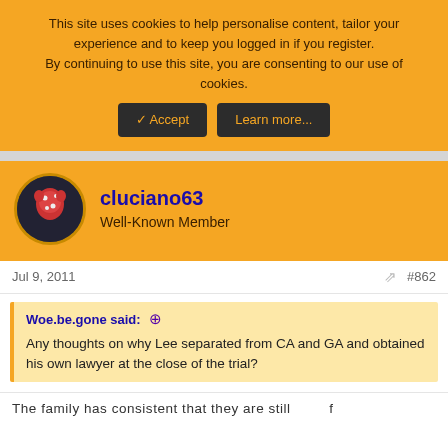This site uses cookies to help personalise content, tailor your experience and to keep you logged in if you register.
By continuing to use this site, you are consenting to our use of cookies.
✓ Accept   Learn more...
cluciano63
Well-Known Member
Jul 9, 2011
#862
Woe.be.gone said: ↑
Any thoughts on why Lee separated from CA and GA and obtained his own lawyer at the close of the trial?
The family has consistent that they are still…